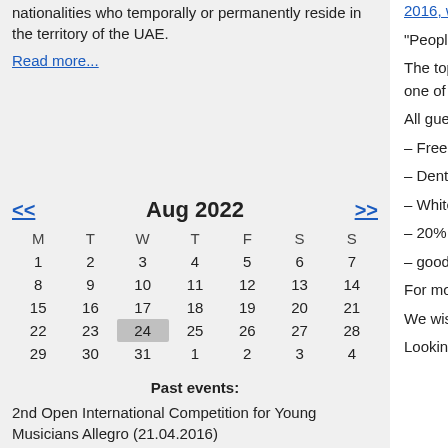nationalities who temporally or permanently reside in the territory of the UAE.
Read more...
| M | T | W | T | F | S | S |
| --- | --- | --- | --- | --- | --- | --- |
| 1 | 2 | 3 | 4 | 5 | 6 | 7 |
| 8 | 9 | 10 | 11 | 12 | 13 | 14 |
| 15 | 16 | 17 | 18 | 19 | 20 | 21 |
| 22 | 23 | 24 | 25 | 26 | 27 | 28 |
| 29 | 30 | 31 | 1 | 2 | 3 | 4 |
Past events:
2nd Open International Competition for Young Musicians Allegro (21.04.2016)
The Day of Russian women's health (08.12.2015)
2016, where we will ta...
“People with pretty smi...
The topic of our meetin... Center will tell about th... and is one of the leadi... level of services in all a...
All guests will get:
– Free consultation wit...
– Dental Cleaning at 5...
– Whitening at 50 % di...
– 20% discount for all o...
– goodie bags from the...
For more information a...
We wish you to have a...
Looking forward to see... Building, Unit 202 (Bu...